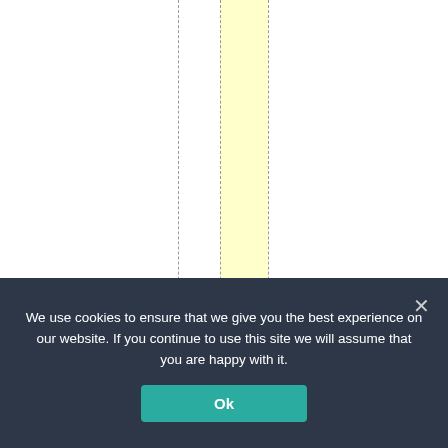[Figure (other): Document page layout with vertical dashed guide lines and a yellow highlighted column. Vertical text reading 'd t o m o o n l i g h t l t e m p o' runs down the right portion of the page.]
We use cookies to ensure that we give you the best experience on our website. If you continue to use this site we will assume that you are happy with it.